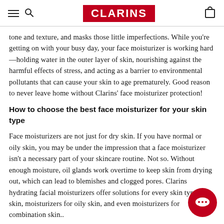CLARINS
tone and texture, and masks those little imperfections. While you’re getting on with your busy day, your face moisturizer is working hard—holding water in the outer layer of skin, nourishing against the harmful effects of stress, and acting as a barrier to environmental pollutants that can cause your skin to age prematurely. Good reason to never leave home without Clarins’ face moisturizer protection!
How to choose the best face moisturizer for your skin type
Face moisturizers are not just for dry skin. If you have normal or oily skin, you may be under the impression that a face moisturizer isn’t a necessary part of your skincare routine. Not so. Without enough moisture, oil glands work overtime to keep skin from drying out, which can lead to blemishes and clogged pores. Clarins hydrating facial moisturizers offer solutions for every skin type: dry skin, moisturizers for oily skin, and even moisturizers for combination skin..